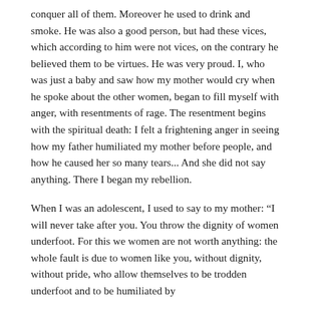conquer all of them. Moreover he used to drink and smoke. He was also a good person, but had these vices, which according to him were not vices, on the contrary he believed them to be virtues. He was very proud. I, who was just a baby and saw how my mother would cry when he spoke about the other women, began to fill myself with anger, with resentments of rage. The resentment begins with the spiritual death: I felt a frightening anger in seeing how my father humiliated my mother before people, and how he caused her so many tears... And she did not say anything. There I began my rebellion.
When I was an adolescent, I used to say to my mother: “I will never take after you. You throw the dignity of women underfoot. For this we women are not worth anything: the whole fault is due to women like you, without dignity, without pride, who allow themselves to be trodden underfoot and to be humiliated by